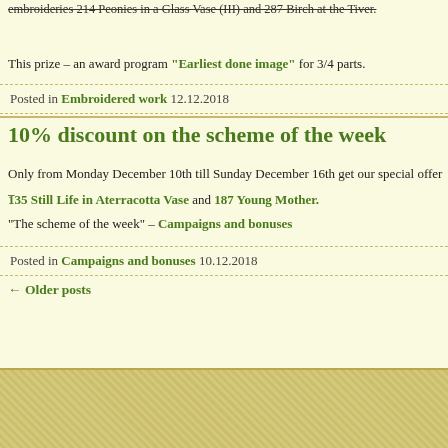embroideries 214 Peonies in a Glass Vase (III) and 287 Birch at the Tiver.
This prize – an award program "Earliest done image" for 3/4 parts.
Posted in Embroidered work 12.12.2018
10% discount on the scheme of the week
Only from Monday December 10th till Sunday December 16th get our special offer –
135 Still Life in Aterracotta Vase and 187 Young Mother.
"The scheme of the week" – Campaigns and bonuses
Posted in Campaigns and bonuses 10.12.2018
← Older posts
Order  Payment  Delivery